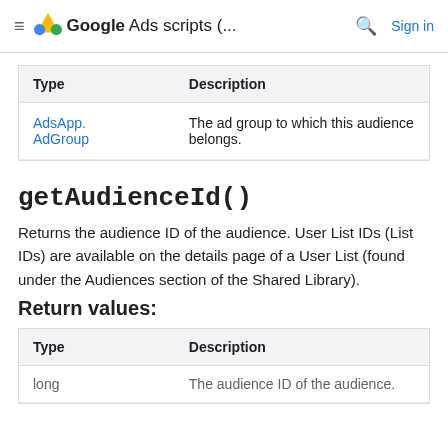Google Ads scripts (... Sign in
| Type | Description |
| --- | --- |
| AdsApp.AdGroup | The ad group to which this audience belongs. |
getAudienceId()
Returns the audience ID of the audience. User List IDs (List IDs) are available on the details page of a User List (found under the Audiences section of the Shared Library).
Return values:
| Type | Description |
| --- | --- |
| long | The audience ID of the audience. |